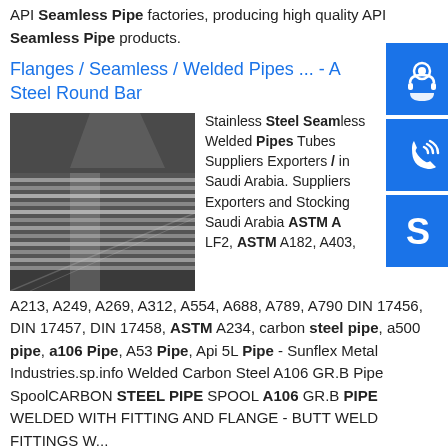API Seamless Pipe factories, producing high quality API Seamless Pipe products.
Flanges / Seamless / Welded Pipes ... - Steel Round Bar
[Figure (photo): Stack of steel flat plates/sheets in an industrial warehouse setting]
Stainless Steel Seamless Welded Pipes Tubes Suppliers Exporters in Saudi Arabia. Suppliers Exporters and Stockists in Saudi Arabia ASTM A LF2, ASTM A182, A403, A213, A249, A269, A312, A554, A688, A789, A790 DIN 17456, DIN 17457, DIN 17458, ASTM A234, carbon steel pipe, a500 pipe, a106 Pipe, A53 Pipe, Api 5L Pipe - Sunflex Metal Industries.sp.info Welded Carbon Steel A106 GR.B Pipe SpoolCARBON STEEL PIPE SPOOL A106 GR.B PIPE WELDED WITH FITTING AND FLANGE - BUTT WELD FITTINGS...
[Figure (illustration): Blue square icon with customer support/headset person icon]
[Figure (illustration): Blue square icon with phone/call icon]
[Figure (illustration): Blue square icon with Skype icon]